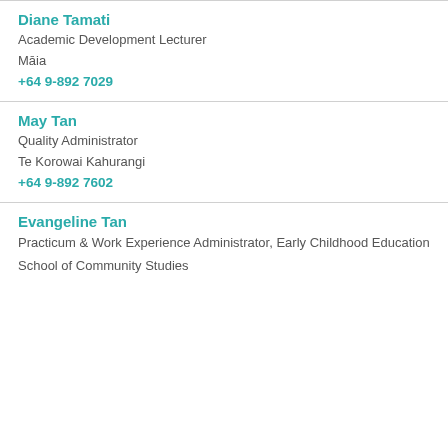Diane Tamati
Academic Development Lecturer
Māia
+64 9-892 7029
May Tan
Quality Administrator
Te Korowai Kahurangi
+64 9-892 7602
Evangeline Tan
Practicum & Work Experience Administrator, Early Childhood Education
School of Community Studies